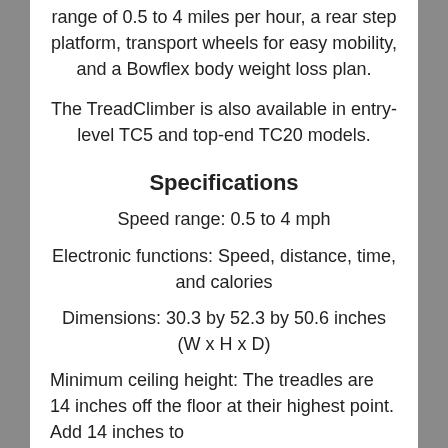range of 0.5 to 4 miles per hour, a rear step platform, transport wheels for easy mobility, and a Bowflex body weight loss plan.
The TreadClimber is also available in entry-level TC5 and top-end TC20 models.
Specifications
Speed range: 0.5 to 4 mph
Electronic functions: Speed, distance, time, and calories
Dimensions: 30.3 by 52.3 by 50.6 inches (W x H x D)
Minimum ceiling height: The treadles are 14 inches off the floor at their highest point. Add 14 inches to